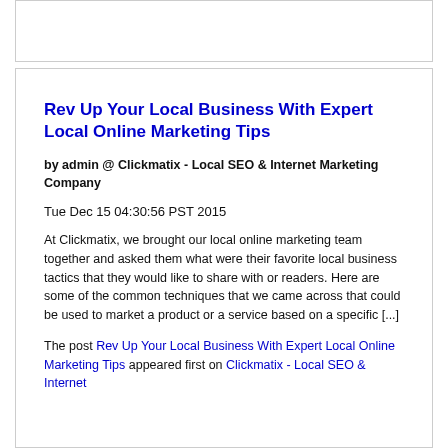Rev Up Your Local Business With Expert Local Online Marketing Tips
by admin @ Clickmatix - Local SEO & Internet Marketing Company
Tue Dec 15 04:30:56 PST 2015
At Clickmatix, we brought our local online marketing team together and asked them what were their favorite local business tactics that they would like to share with or readers. Here are some of the common techniques that we came across that could be used to market a product or a service based on a specific [...]
The post Rev Up Your Local Business With Expert Local Online Marketing Tips appeared first on Clickmatix - Local SEO & Internet